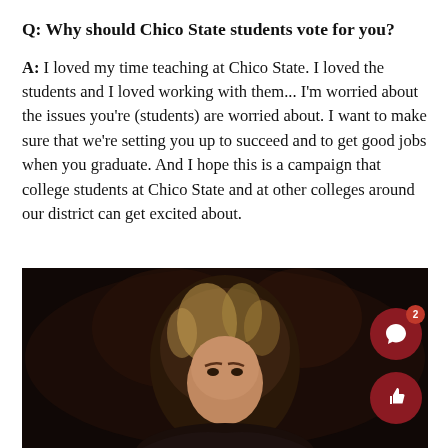Q: Why should Chico State students vote for you?
A: I loved my time teaching at Chico State. I loved the students and I loved working with them... I'm worried about the issues you're (students) are worried about. I want to make sure that we're setting you up to succeed and to get good jobs when you graduate. And I hope this is a campaign that college students at Chico State and at other colleges around our district can get excited about.
[Figure (photo): Photo of a woman with blonde highlights, photographed against a dark background, visible from the shoulders up.]